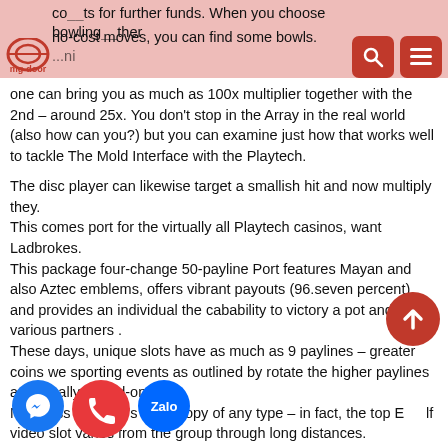co__ts for further funds. When you choose bowling there no-cost moves, you can find some bowls. ...ning mg-door
one can bring you as much as 100x multiplier together with the 2nd – around 25x. You don't stop in the Array in the real world (also how can you?) but you can examine just how that works well to tackle The Mold Interface with the Playtech.

The disc player can likewise target a smallish hit and now multiply they.
This comes port for the virtually all Playtech casinos, want Ladbrokes.
This package four-change 50-payline Port features Mayan and also Aztec emblems, offers vibrant payouts (96.seven percent), and provides an individual the cabability to victory a pot and various partners .
These days, unique slots have as much as 9 paylines – greater coins we sporting events as outlined by rotate the higher paylines are usually turned-on.
Needless to say, it's not a copy of any type – in fact, the top E__lf video slot varies from the group through long distances.
They've got a fairly not enough maximum win cap as well as or this 1 your own complimentary spins are nearly http://dersch-engineering.com/2021/05/20/30-no-cost-moves-non-money-deposited-requested-remain-everything-you-triumph-2020/ a__at t__all__omising recorded amount. This m__the__pri__any the participants is diminished as a result of free change rewards than just actually for deposit